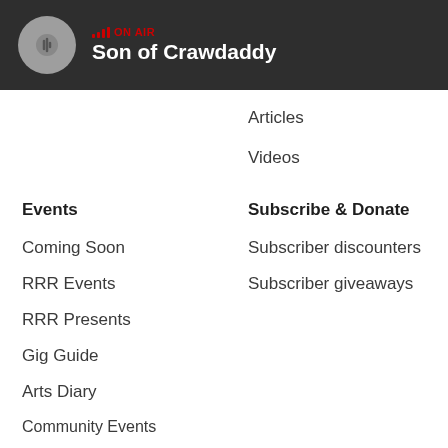ON AIR — Son of Crawdaddy
Articles
Videos
Events
Coming Soon
RRR Events
RRR Presents
Gig Guide
Arts Diary
Community Events
Submit an Event
Subscribe & Donate
Subscriber discounters
Subscriber giveaways
Shop